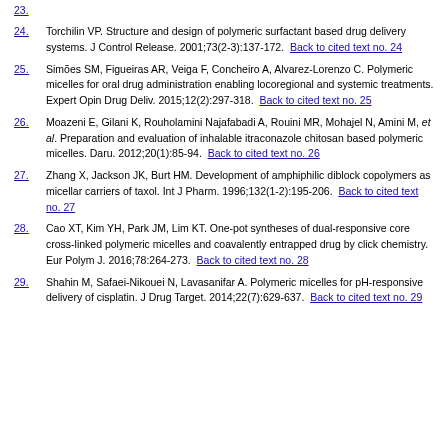23. [truncated at top]
24. Torchilin VP. Structure and design of polymeric surfactant based drug delivery systems. J Control Release. 2001;73(2-3):137-172. Back to cited text no. 24
25. Simões SM, Figueiras AR, Veiga F, Concheiro A, Alvarez-Lorenzo C. Polymeric micelles for oral drug administration enabling locoregional and systemic treatments. Expert Opin Drug Deliv. 2015;12(2):297-318. Back to cited text no. 25
26. Moazeni E, Gilani K, Rouholamini Najafabadi A, Rouini MR, Mohajel N, Amini M, et al. Preparation and evaluation of inhalable itraconazole chitosan based polymeric micelles. Daru. 2012;20(1):85-94. Back to cited text no. 26
27. Zhang X, Jackson JK, Burt HM. Development of amphiphilic diblock copolymers as micellar carriers of taxol. Int J Pharm. 1996;132(1-2):195-206. Back to cited text no. 27
28. Cao XT, Kim YH, Park JM, Lim KT. One-pot syntheses of dual-responsive core cross-linked polymeric micelles and coavalently entrapped drug by click chemistry. Eur Polym J. 2016;78:264-273. Back to cited text no. 28
29. Shahin M, Safaei-Nikouei N, Lavasanifar A. Polymeric micelles for pH-responsive delivery of cisplatin. J Drug Target. 2014;22(7):629-637. Back to cited text no. 29